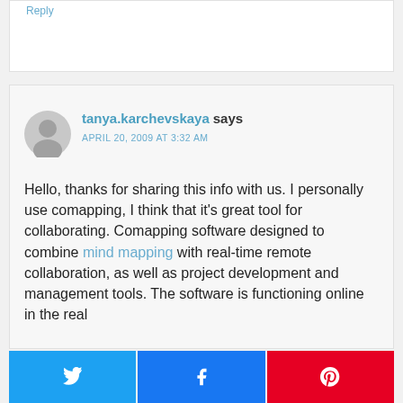Reply
tanya.karchevskaya says
APRIL 20, 2009 AT 3:32 AM
Hello, thanks for sharing this info with us. I personally use comapping, I think that it's great tool for collaborating. Comapping software designed to combine mind mapping with real-time remote collaboration, as well as project development and management tools. The software is functioning online in the real